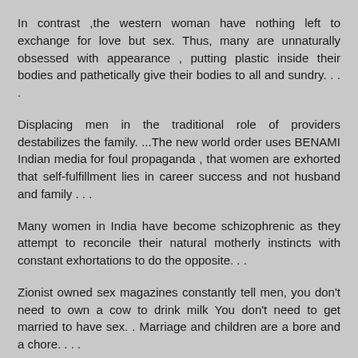In contrast ,the western woman have nothing left to exchange for love but sex. Thus, many are unnaturally obsessed with appearance , putting plastic inside their bodies and pathetically give their bodies to all and sundry. . . .
Displacing men in the traditional role of providers destabilizes the family. ...The new world order uses BENAMI Indian media for foul propaganda , that women are exhorted that self-fulfillment lies in career success and not husband and family . . .
Many women in India have become schizophrenic as they attempt to reconcile their natural motherly instincts with constant exhortations to do the opposite. . .
Zionist owned sex magazines constantly tell men, you don't need to own a cow to drink milk You don't need to get married to have sex. . Marriage and children are a bore and a chore. . . .